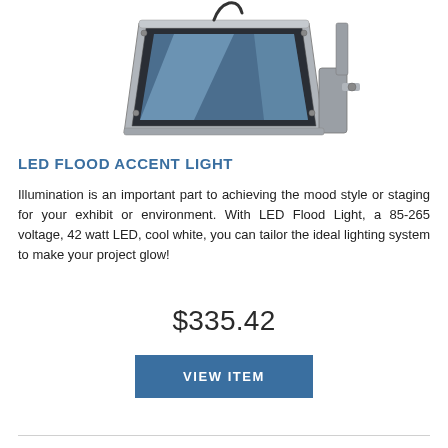[Figure (photo): A gray LED flood accent light fixture with mounting bracket, angled view showing the lens and housing]
LED FLOOD ACCENT LIGHT
Illumination is an important part to achieving the mood style or staging for your exhibit or environment. With LED Flood Light, a 85-265 voltage, 42 watt LED, cool white, you can tailor the ideal lighting system to make your project glow!
$335.42
VIEW ITEM